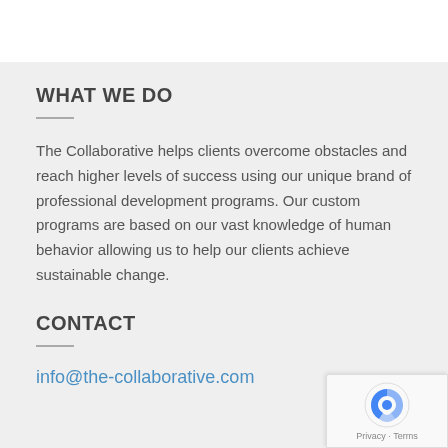WHAT WE DO
The Collaborative helps clients overcome obstacles and reach higher levels of success using our unique brand of professional development programs. Our custom programs are based on our vast knowledge of human behavior allowing us to help our clients achieve sustainable change.
CONTACT
info@the-collaborative.com
[Figure (logo): reCAPTCHA badge with blue arrow icon and Privacy/Terms links]